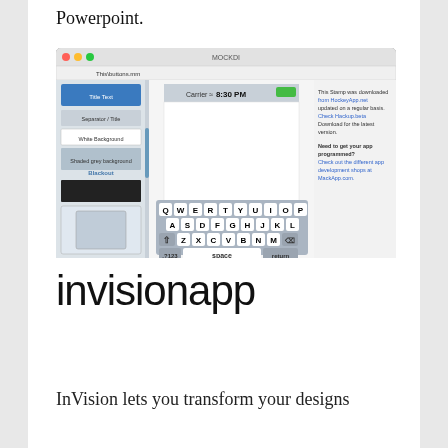Powerpoint.
[Figure (screenshot): Screenshot of a Mac application window showing a mobile app mockup tool (HipMob/similar). The interface displays a panel on the left with UI element options including 'Title Text', 'Separator / Title', 'White Background', 'Shaded grey background', 'Blackout'. The main area shows an iPhone mockup with a QWERTY keyboard displayed. To the right is a sidebar with text about the app being downloaded from HockeyApp.]
invisionapp
InVision lets you transform your designs